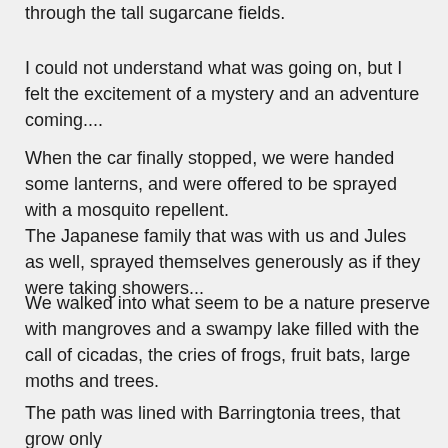through the tall sugarcane fields.
I could not understand what was going on, but I felt the excitement of a mystery and an adventure coming....
When the car finally stopped, we were handed some lanterns, and were offered to be sprayed with a mosquito repellent.
The Japanese family that was with us and Jules as well, sprayed themselves generously as if they were taking showers...
We walked into what seem to be a nature preserve with mangroves and a swampy lake filled with the call of cicadas, the cries of frogs, fruit bats, large moths and trees.
The path was lined with Barringtonia trees, that grow only